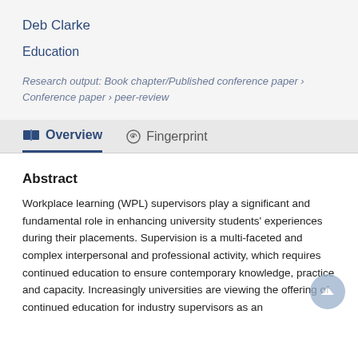Deb Clarke
Education
Research output: Book chapter/Published conference paper › Conference paper › peer-review
Overview
Fingerprint
Abstract
Workplace learning (WPL) supervisors play a significant and fundamental role in enhancing university students' experiences during their placements. Supervision is a multi-faceted and complex interpersonal and professional activity, which requires continued education to ensure contemporary knowledge, practice and capacity. Increasingly universities are viewing the offering of continued education for industry supervisors as an